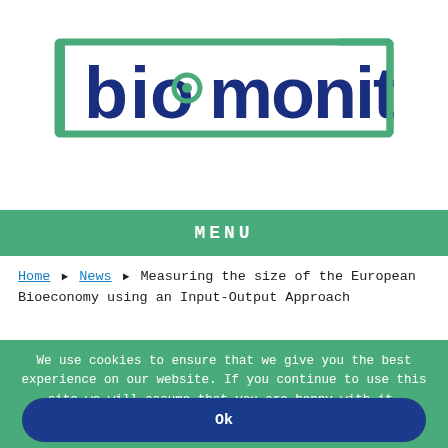[Figure (logo): BioMonitor logo: large text 'biomonitor' in blue and dark blue with green rectangular border frame]
MENU
Home > News > Measuring the size of the European Bioeconomy using an Input-Output Approach
We use cookies to ensure that we give you the best experience on our website. If you continue to use this site we will assume that you are happy with it.
Ok